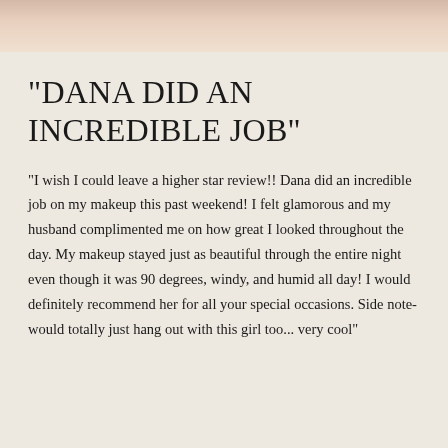[Figure (photo): Top strip showing partial photo of a person in white, cropped to show only lower portion]
"DANA DID AN INCREDIBLE JOB"
“I wish I could leave a higher star review!! Dana did an incredible job on my makeup this past weekend! I felt glamorous and my husband complimented me on how great I looked throughout the day. My makeup stayed just as beautiful through the entire night even though it was 90 degrees, windy, and humid all day! I would definitely recommend her for all your special occasions. Side note- would totally just hang out with this girl too... very cool”